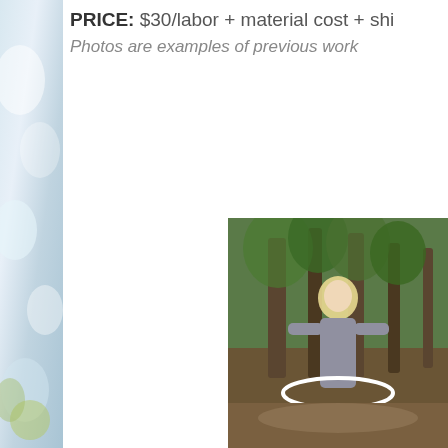PRICE: $30/labor + material cost + shi
Photos are examples of previous work
[Figure (photo): Left edge photo strip showing a light blue/white floral or fabric close-up]
[Figure (photo): Photo of a person with blonde hair in a forest/wooded outdoor setting, holding what appears to be a white hoop or ring, surrounded by green trees]